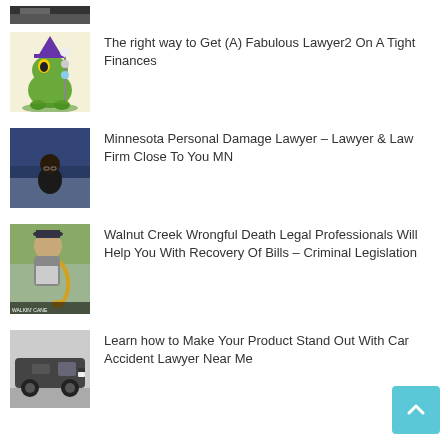[Figure (photo): Partial view of a dark photo at the top, cropped]
[Figure (illustration): Cartoon frog wizard holding a staff with skulls, wearing a purple witch hat on yellow background]
The right way to Get (A) Fabulous Lawyer2 On A Tight Finances
[Figure (photo): Woman with glasses standing near water/sea, dark hair]
Minnesota Personal Damage Lawyer – Lawyer & Law Firm Close To You MN
[Figure (photo): Elderly man playing saxophone outdoors, with text overlay at bottom]
Walnut Creek Wrongful Death Legal Professionals Will Help You With Recovery Of Bills – Criminal Legislation
[Figure (photo): Dark van/minivan vehicle]
Learn how to Make Your Product Stand Out With Car Accident Lawyer Near Me